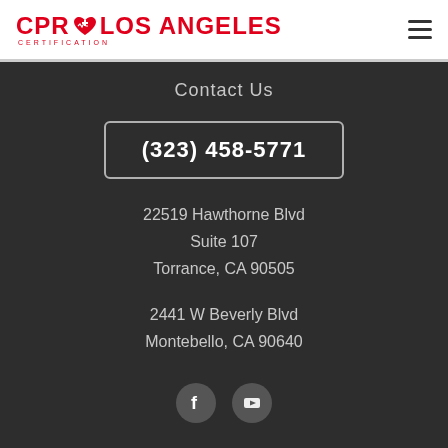[Figure (logo): CPR Los Angeles Certification logo with red heart icon]
Contact Us
(323) 458-5771
22519 Hawthorne Blvd
Suite 107
Torrance, CA 90505
2441 W Beverly Blvd
Montebello, CA 90640
[Figure (illustration): Facebook and YouTube social media icons]